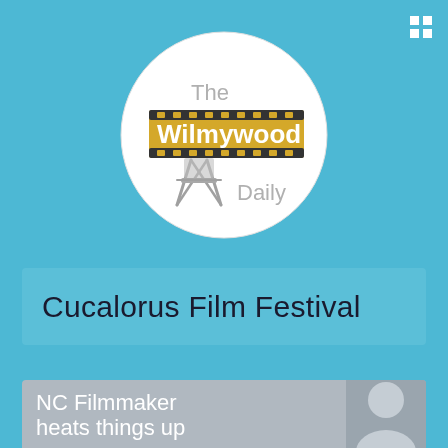[Figure (logo): The Wilmywood Daily logo — circular white badge with film strip graphic and director's chair, text reads 'The Wilmywood Daily']
Cucalorus Film Festival
NC Filmmaker heats things up